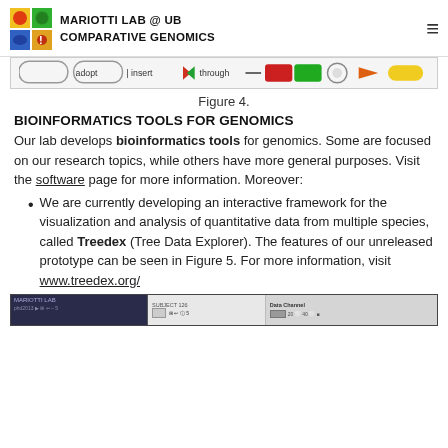MARIOTTI LAB @ UB COMPARATIVE GENOMICS
[Figure (screenshot): Toolbar strip with software tool buttons including 'adopt', 'insert', arrows, 'through', and various other icons]
Figure 4.
BIOINFORMATICS TOOLS FOR GENOMICS
Our lab develops bioinformatics tools for genomics. Some are focused on our research topics, while others have more general purposes. Visit the software page for more information. Moreover:
We are currently developing an interactive framework for the visualization and analysis of quantitative data from multiple species, called Treedex (Tree Data Explorer). The features of our unreleased prototype can be seen in Figure 5. For more information, visit www.treedex.org/
[Figure (screenshot): Bottom screenshot of the Treedex application interface with multiple panels]